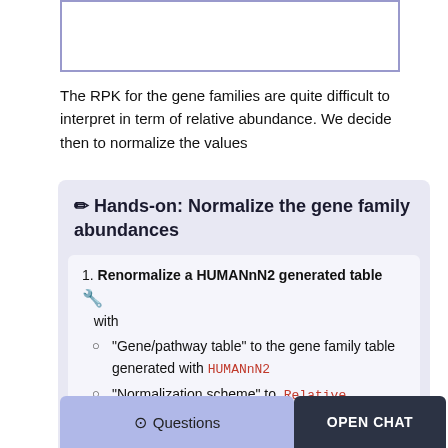[Figure (other): Partial top box / framed area, border visible]
The RPK for the gene families are quite difficult to interpret in term of relative abundance. We decide then to normalize the values
✏ Hands-on: Normalize the gene family abundances
1. Renormalize a HUMANnN2 generated table 🔧 with
"Gene/pathway table" to the gene family table generated with HUMANnN2
"Normalization scheme" to Relative abundance
"Normalization level" to Normalization of all levels by community total
Questions | OPEN CHAT